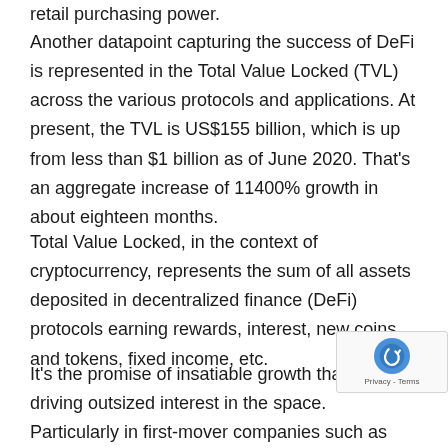Another datapoint capturing the success of DeFi is represented in the Total Value Locked (TVL) across the various protocols and applications. At present, the TVL is US$155 billion, which is up from less than $1 billion as of June 2020. That's an aggregate increase of 11400% growth in about eighteen months.
Total Value Locked, in the context of cryptocurrency, represents the sum of all assets deposited in decentralized finance (DeFi) protocols earning rewards, interest, new coins and tokens, fixed income, etc.
It's the promise of insatiable growth that is driving outsized interest in the space. Particularly in first-mover companies such as Liquid Meta, which is seeking to compress incredibly complicated and fragmented technological protocols under one platform. Should it succeed, the returns for patient investors could worth the wait. At the very least, Liquid Meta has increase odds of success, by raising money through the public listing and